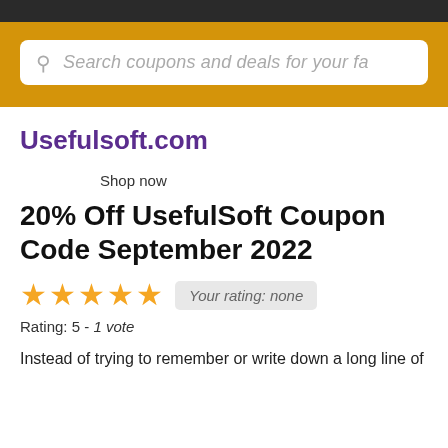Search coupons and deals for your fa
Usefulsoft.com
Shop now
20% Off UsefulSoft Coupon Code September 2022
Rating: 5 - 1 vote
Instead of trying to remember or write down a long line of